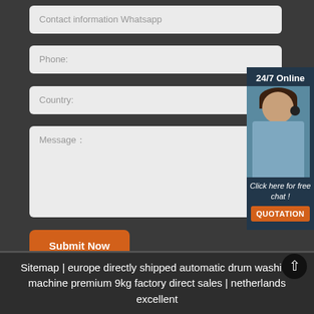Contact information Whatsapp
Phone:
Country:
Message:
[Figure (illustration): 24/7 Online chat widget with a photo of a female customer service representative wearing a headset, with 'Click here for free chat!' text and an orange QUOTATION button]
Submit Now
Sitemap | europe directly shipped automatic drum washing machine premium 9kg factory direct sales | netherlands excellent